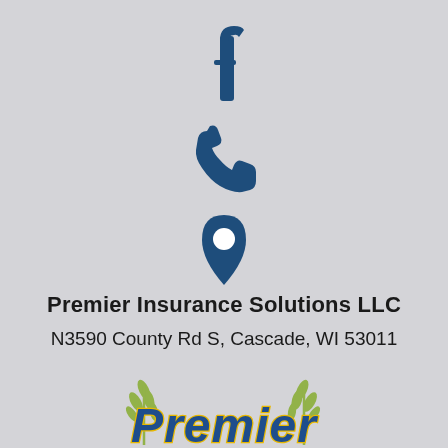[Figure (illustration): Facebook logo icon (dark navy blue 'f' letter)]
[Figure (illustration): Phone/call icon (dark navy blue telephone handset)]
[Figure (illustration): Location pin icon (dark navy blue map marker with white circle center)]
Premier Insurance Solutions LLC
N3590 County Rd S, Cascade, WI 53011
[Figure (logo): Premier Insurance Solutions LLC logo with wheat stalks and stylized blue/gold text reading 'Premier']